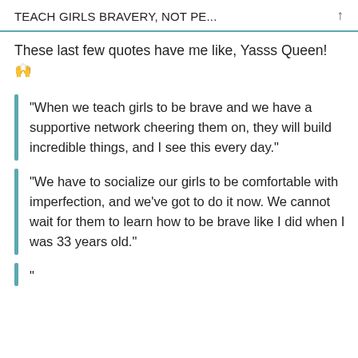TEACH GIRLS BRAVERY, NOT PE...
These last few quotes have me like, Yasss Queen! 🙌
“When we teach girls to be brave and we have a supportive network cheering them on, they will build incredible things, and I see this every day.”
“We have to socialize our girls to be comfortable with imperfection, and we’ve got to do it now. We cannot wait for them to learn how to be brave like I did when I was 33 years old.”